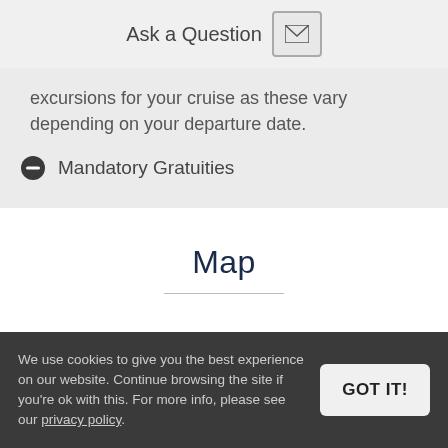Ask a Question
excursions for your cruise as these vary depending on your departure date.
Mandatory Gratuities
Map
We use cookies to give you the best experience on our website. Continue browsing the site if you’re ok with this. For more info, please see our privacy policy.